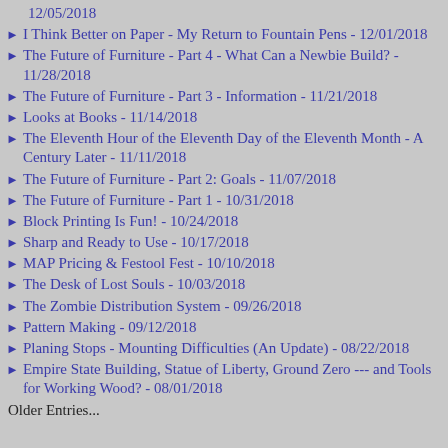12/05/2018
I Think Better on Paper - My Return to Fountain Pens - 12/01/2018
The Future of Furniture - Part 4 - What Can a Newbie Build? - 11/28/2018
The Future of Furniture - Part 3 - Information - 11/21/2018
Looks at Books - 11/14/2018
The Eleventh Hour of the Eleventh Day of the Eleventh Month - A Century Later - 11/11/2018
The Future of Furniture - Part 2: Goals - 11/07/2018
The Future of Furniture - Part 1 - 10/31/2018
Block Printing Is Fun! - 10/24/2018
Sharp and Ready to Use - 10/17/2018
MAP Pricing & Festool Fest - 10/10/2018
The Desk of Lost Souls - 10/03/2018
The Zombie Distribution System - 09/26/2018
Pattern Making - 09/12/2018
Planing Stops - Mounting Difficulties (An Update) - 08/22/2018
Empire State Building, Statue of Liberty, Ground Zero --- and Tools for Working Wood? - 08/01/2018
Older Entries...